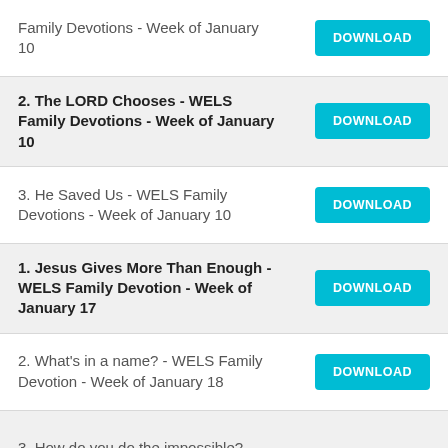Family Devotions - Week of January 10
2. The LORD Chooses - WELS Family Devotions - Week of January 10
3. He Saved Us - WELS Family Devotions - Week of January 10
1. Jesus Gives More Than Enough - WELS Family Devotion - Week of January 17
2. What's in a name? - WELS Family Devotion - Week of January 18
3. How do you do the impossible? -